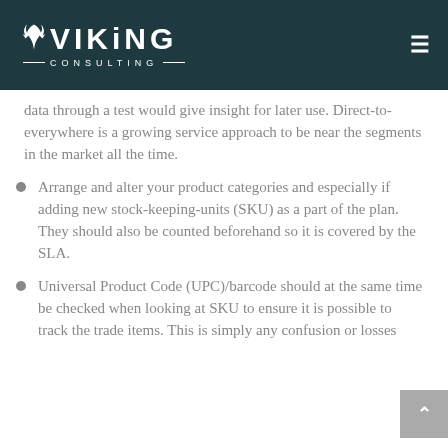VIKING CONSULTING
data through a test would give insight for later use. Direct-to-everywhere is a growing service approach to be near the segments in the market all the time.
Arrange and alter your product categories and especially if adding new stock-keeping-units (SKU) as a part of the plan. They should also be counted beforehand so it is covered by the SLA.
Universal Product Code (UPC)/barcode should at the same time be checked when looking at SKU to ensure it is possible to track the trade items. This is simply any confusion or losses